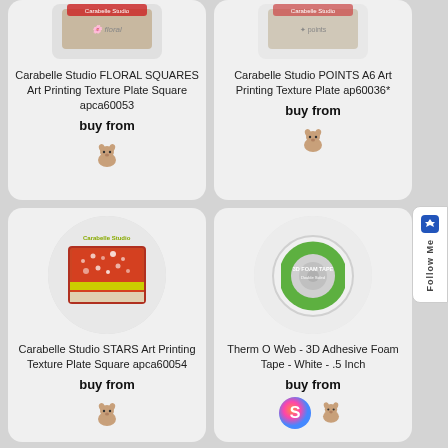[Figure (photo): Product image of Carabelle Studio FLORAL SQUARES Art Printing Texture Plate Square apca60053 partially cropped at top]
Carabelle Studio FLORAL SQUARES Art Printing Texture Plate Square apca60053
buy from
[Figure (logo): Small dog/terrier vendor logo]
[Figure (photo): Product image of Carabelle Studio POINTS A6 Art Printing Texture Plate ap60036* partially cropped at top]
Carabelle Studio POINTS A6 Art Printing Texture Plate ap60036*
buy from
[Figure (logo): Small dog/terrier vendor logo]
[Figure (photo): Product image of Carabelle Studio STARS Art Printing Texture Plate Square apca60054 showing colorful dotted art plate]
Carabelle Studio STARS Art Printing Texture Plate Square apca60054
buy from
[Figure (logo): Small dog/terrier vendor logo]
[Figure (photo): Product image of Therm O Web 3D Adhesive Foam Tape White .5 Inch showing a roll of white tape with green label]
Therm O Web - 3D Adhesive Foam Tape - White - .5 Inch
buy from
[Figure (logo): Two vendor logos: colorful S logo and small dog/terrier logo]